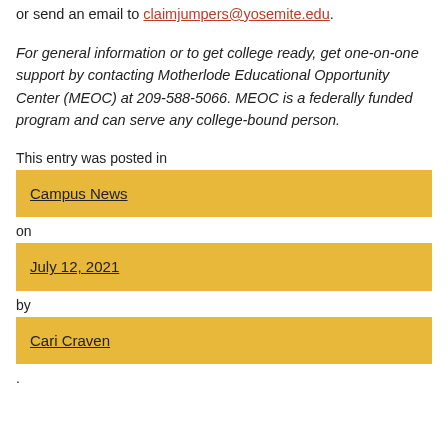or send an email to claimjumpers@yosemite.edu.
For general information or to get college ready, get one-on-one support by contacting Motherlode Educational Opportunity Center (MEOC) at 209-588-5066. MEOC is a federally funded program and can serve any college-bound person.
This entry was posted in
Campus News
on
July 12, 2021
by
Cari Craven
.